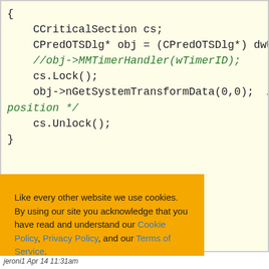[Figure (screenshot): Code block showing C++ code snippet with CCriticalSection and CPredOTSDlg usage, with green commented-out line //obj->MMTimerHandler(wTimerID); and partial comment /* G position */]
Like every other website we use cookies. By using our site you acknowledge that you have read and understand our Cookie Policy, Privacy Policy, and our Terms of Service. Learn more
Ask me later  Decline  Allow cookies
jeroni1 Apr 14 11:31am